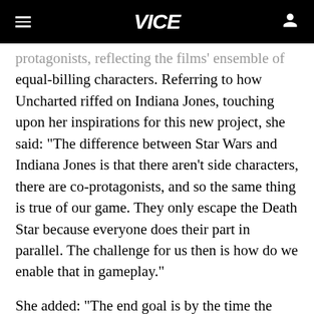VICE
protagonists, reflecting the films' ensemble of equal-billing characters. Referring to how Uncharted riffed on Indiana Jones, touching upon her inspirations for this new project, she said: "The difference between Star Wars and Indiana Jones is that there aren't side characters, there are co-protagonists, and so the same thing is true of our game. They only escape the Death Star because everyone does their part in parallel. The challenge for us then is how do we enable that in gameplay."
She added: "The end goal is by the time the